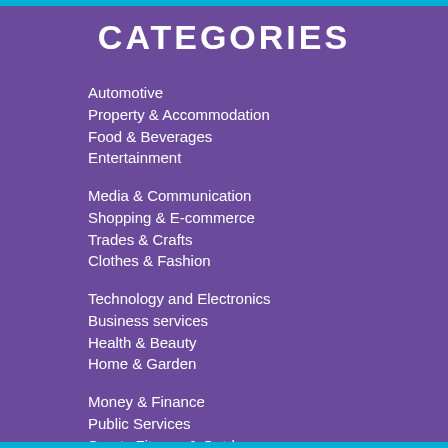CATEGORIES
Automotive
Property & Accommodation
Food & Beverages
Entertainment
Media & Communication
Shopping & E-commerce
Trades & Crafts
Clothes & Fashion
Technology and Electronics
Business services
Health & Beauty
Home & Garden
Money & Finance
Public Services
Sports Fitness & Outdoor
Travel & Holidays